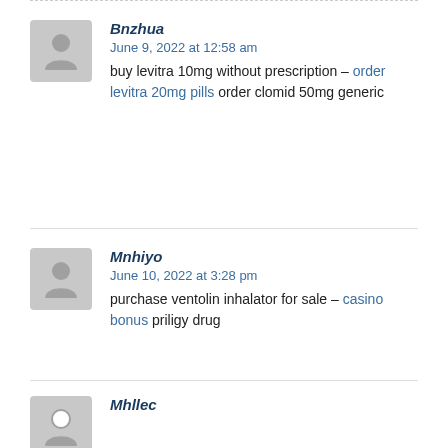Bnzhua
June 9, 2022 at 12:58 am
buy levitra 10mg without prescription – order levitra 20mg pills order clomid 50mg generic
Mnhiyo
June 10, 2022 at 3:28 pm
purchase ventolin inhalator for sale – casino bonus priligy drug
Mhllec